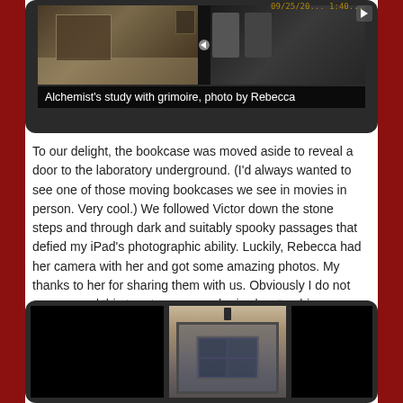[Figure (photo): Photo frame showing alchemist's study with grimoire, displayed in a dark tablet-like frame with caption 'Alchemist's study with grimoire, photo by Rebecca']
Alchemist's study with grimoire, photo by Rebecca
To our delight, the bookcase was moved aside to reveal a door to the laboratory underground. (I'd always wanted to see one of those moving bookcases we see in movies in person. Very cool.) We followed Victor down the stone steps and through dark and suitably spooky passages that defied my iPad's photographic ability. Luckily, Rebecca had her camera with her and got some amazing photos. My thanks to her for sharing them with us. Obviously I do not recommend this tour to anyone who is claustrophic.
[Figure (photo): Photo of a stone door or gate with latticed glass panel, hanging in an arched stone passageway, displayed on a dark tablet-like frame]